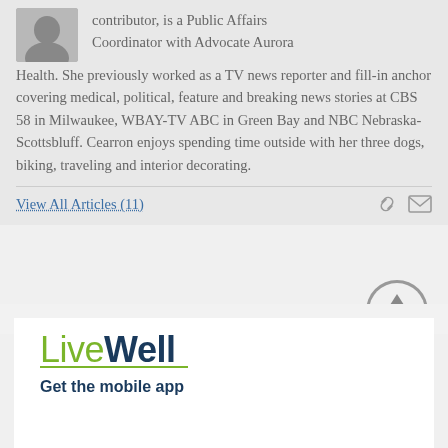[Figure (photo): Small headshot photo of the author, a woman, shown in a rounded rectangle]
contributor, is a Public Affairs Coordinator with Advocate Aurora Health. She previously worked as a TV news reporter and fill-in anchor covering medical, political, feature and breaking news stories at CBS 58 in Milwaukee, WBAY-TV ABC in Green Bay and NBC Nebraska-Scottsbluff. Cearron enjoys spending time outside with her three dogs, biking, traveling and interior decorating.
View All Articles (11)
[Figure (illustration): Circular scroll-to-top button with an upward arrow icon]
[Figure (logo): LiveWell logo with green 'Live' text and dark blue bold 'Well' text, with a green underline]
Get the mobile app